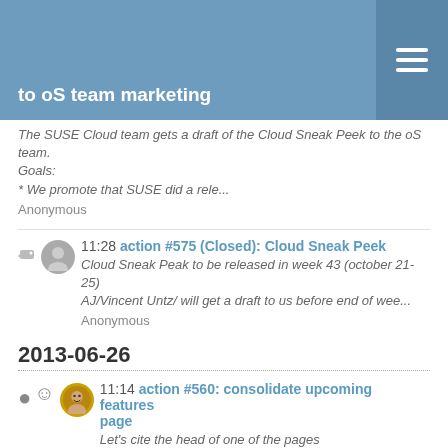to oS team marketing
The SUSE Cloud team gets a draft of the Cloud Sneak Peek to the oS team.
Goals:
* We promote that SUSE did a rele...
Anonymous
11:28 action #575 (Closed): Cloud Sneak Peek
Cloud Sneak Peak to be released in week 43 (october 21-25)
AJ/Vincent Untz/ will get a draft to us before end of wee...
Anonymous
2013-06-26
11:14 action #560: consolidate upcoming features page
Let's cite the head of one of the pages
"We don't care where you add things, as we shouldn't have two pages to begin...
lnussel